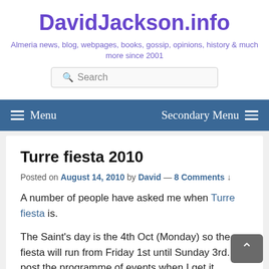DavidJackson.info
Almeria news, blog, webpages, books, gossip, opinions, history & much more since 2001
Turre fiesta 2010
Posted on August 14, 2010 by David — 8 Comments ↓
A number of people have asked me when Turre fiesta is.
The Saint's day is the 4th Oct (Monday) so the fiesta will run from Friday 1st until Sunday 3rd. I'll post the programme of events when I get it.